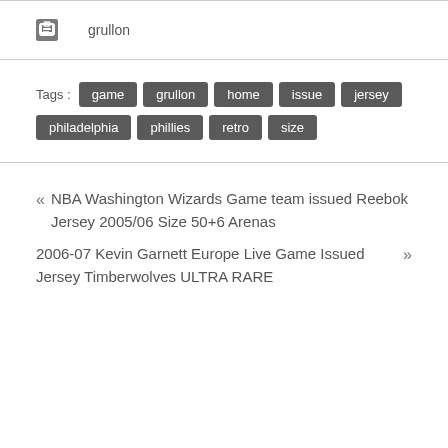grullon
Tags : game grullon home issue jersey philadelphia phillies retro size
« NBA Washington Wizards Game team issued Reebok Jersey 2005/06 Size 50+6 Arenas
2006-07 Kevin Garnett Europe Live Game Issued Jersey Timberwolves ULTRA RARE »